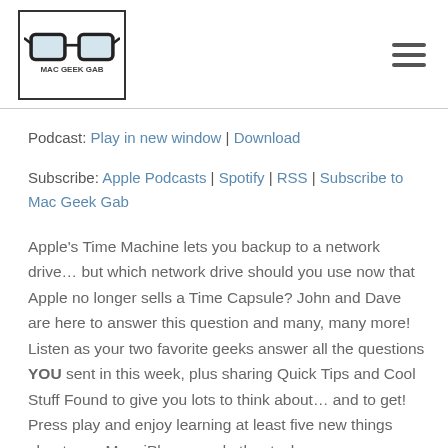MAC GEEK GAB [logo]
Podcast: Play in new window | Download
Subscribe: Apple Podcasts | Spotify | RSS | Subscribe to Mac Geek Gab
Apple's Time Machine lets you backup to a network drive… but which network drive should you use now that Apple no longer sells a Time Capsule? John and Dave are here to answer this question and many, many more! Listen as your two favorite geeks answer all the questions YOU sent in this week, plus sharing Quick Tips and Cool Stuff Found to give you lots to think about… and to get! Press play and enjoy learning at least five new things about your Mac, iPhone, and other tech.